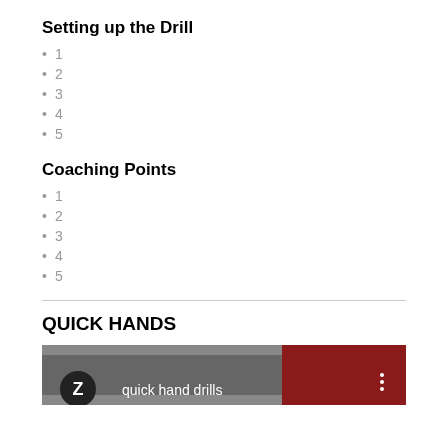Setting up the Drill
1
2
3
4
5
Coaching Points
1
2
3
4
5
QUICK HANDS
[Figure (screenshot): Video thumbnail showing 'quick hand drills' with a Z logo on dark background with red accents]